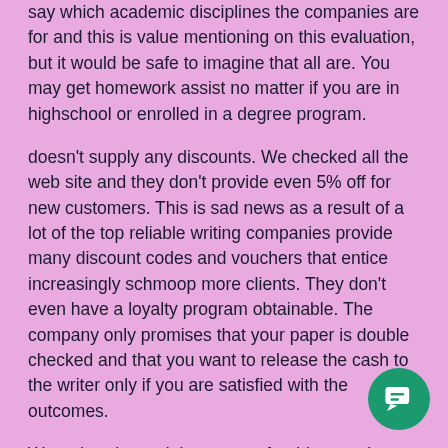say which academic disciplines the companies are for and this is value mentioning on this evaluation, but it would be safe to imagine that all are. You may get homework assist no matter if you are in highschool or enrolled in a degree program.
doesn't supply any discounts. We checked all the web site and they don't provide even 5% off for new customers. This is sad news as a result of a lot of the top reliable writing companies provide many discount codes and vouchers that entice increasingly schmoop more clients. They don't even have a loyalty program obtainable. The company only promises that your paper is double checked and that you want to release the cash to the writer only if you are satisfied with the outcomes.
We ordered a sociology paper for this experiment. Specific directions were submitted to the author. We received the paper on the agreed upon delivery date. The paper followed the supplied directions. The grammar and writing style had been positively satisfactory. However we requested schmoop